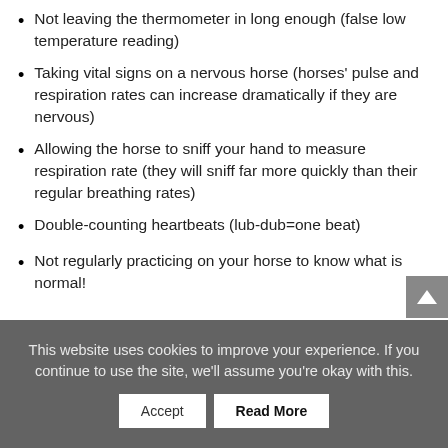Not leaving the thermometer in long enough (false low temperature reading)
Taking vital signs on a nervous horse (horses' pulse and respiration rates can increase dramatically if they are nervous)
Allowing the horse to sniff your hand to measure respiration rate (they will sniff far more quickly than their regular breathing rates)
Double-counting heartbeats (lub-dub=one beat)
Not regularly practicing on your horse to know what is normal!
This website uses cookies to improve your experience. If you continue to use the site, we'll assume you're okay with this.